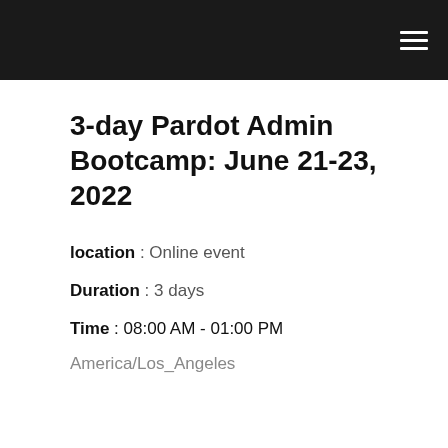☰
3-day Pardot Admin Bootcamp: June 21-23, 2022
location : Online event
Duration : 3 days
Time : 08:00 AM - 01:00 PM
America/Los_Angeles